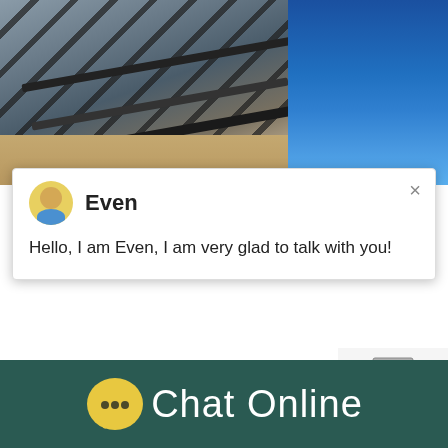[Figure (photo): Industrial conveyor belt structure with metal framework, outdoor setting, and blue industrial equipment on the right side]
Even
Hello, I am Even, I am very glad to talk with you!
Impact Crusher Description Advantages D... 2012Advantages Of Impact Crusher. Impa... blow bar that has very high chrome. Impa...
[Figure (photo): Industrial crusher machine widget with blue circular badge showing number 1 and Click me to chat>> button]
Chat Online